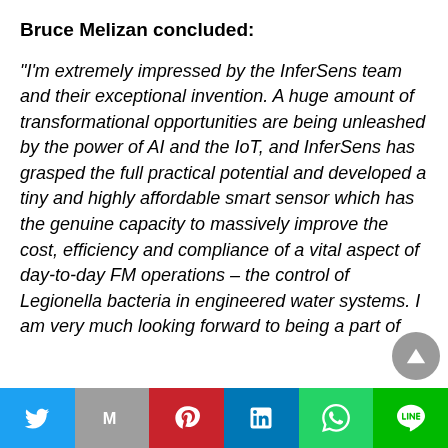Bruce Melizan concluded:
“I’m extremely impressed by the InferSens team and their exceptional invention. A huge amount of transformational opportunities are being unleashed by the power of AI and the IoT, and InferSens has grasped the full practical potential and developed a tiny and highly affordable smart sensor which has the genuine capacity to massively improve the cost, efficiency and compliance of a vital aspect of day-to-day FM operations – the control of Legionella bacteria in engineered water systems. I am very much looking forward to being a part of
[Figure (other): Social sharing bar with icons for Twitter, Mail, Pinterest, LinkedIn, WhatsApp, and Line]